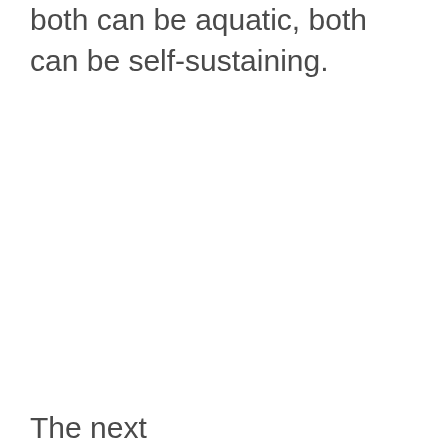both can be aquatic, both can be self-sustaining.
The next...